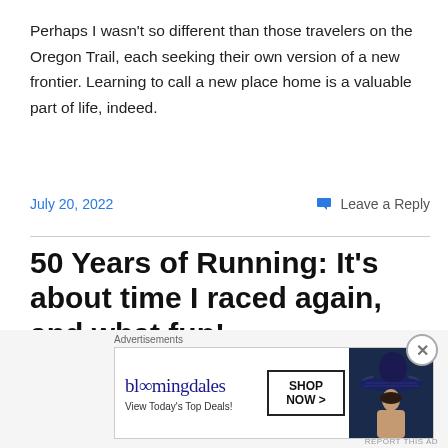Perhaps I wasn't so different than those travelers on the Oregon Trail, each seeking their own version of a new frontier. Learning to call a new place home is a valuable part of life, indeed.
July 20, 2022
Leave a Reply
50 Years of Running: It's about time I raced again, and what fun!
Advertisements
[Figure (other): Bloomingdale's advertisement banner with logo, 'View Today's Top Deals!' text, a woman in a large blue sun hat, and a 'SHOP NOW >' button]